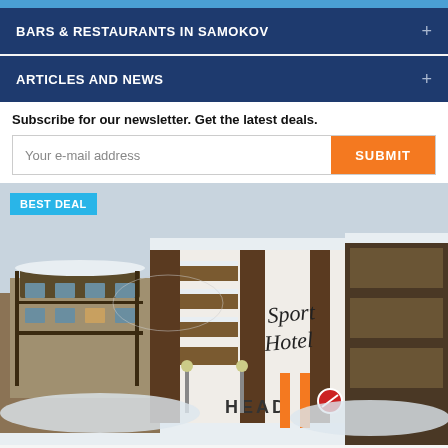BARS & RESTAURANTS IN SAMOKOV
ARTICLES AND NEWS
Subscribe for our newsletter. Get the latest deals.
[Figure (photo): Sport Hotel building exterior in winter with snow, HEAD ski brand signage visible, orange promotional banners in front]
BEST DEAL